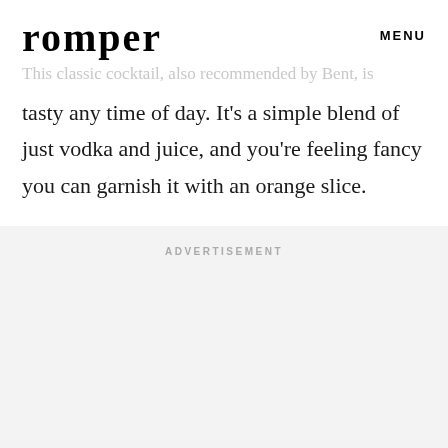romper   MENU
This classic cocktail, also recommended by Bent, is
tasty any time of day. It's a simple blend of just vodka and juice, and you're feeling fancy you can garnish it with an orange slice.
ADVERTISEMENT